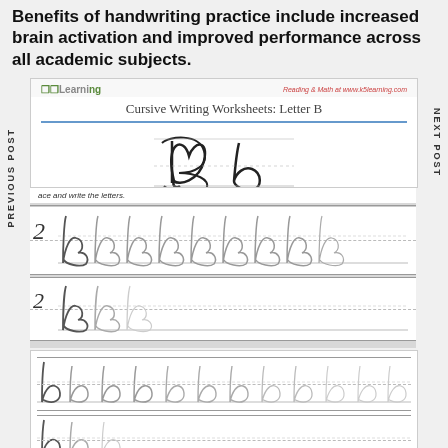Benefits of handwriting practice include increased brain activation and improved performance across all academic subjects.
PREVIOUS POST
NEXT POST
[Figure (illustration): K5Learning Cursive Writing Worksheets: Letter B worksheet showing uppercase B and lowercase b cursive letters, with practice tracing rows for uppercase B and lowercase b cursive letters.]